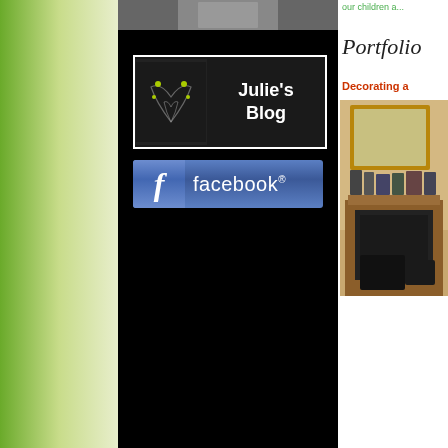[Figure (screenshot): Left green gradient sidebar]
[Figure (screenshot): Top photo strip in center black column]
[Figure (screenshot): Julie's Blog button with butterfly logo and white border on black background]
[Figure (screenshot): Facebook logo button with blue background, f icon and facebook wordmark]
our children a...
Portfolio
Decorating a
[Figure (photo): Interior room photo showing fireplace, mirror, and framed photos on mantle]